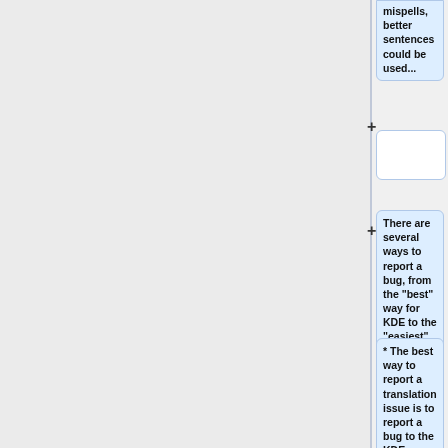mispells, better sentences could be used...
There are several ways to report a bug, from the "best" way for KDE to the "easiest" way for reporting an issue:
* The best way to report a translation issue is to report a bug to the KDE localisation team: if you